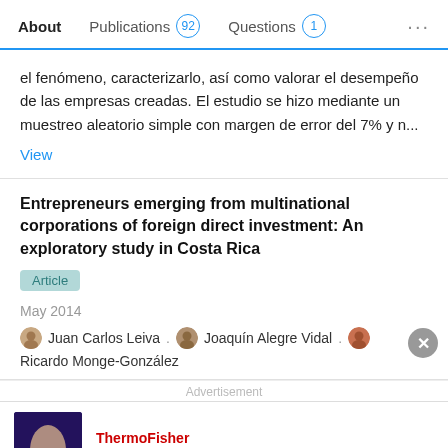About   Publications 92   Questions 1   ...
el fenómeno, caracterizarlo, así como valorar el desempeño de las empresas creadas. El estudio se hizo mediante un muestreo aleatorio simple con margen de error del 7% y n...
View
Entrepreneurs emerging from multinational corporations of foreign direct investment: An exploratory study in Costa Rica
Article
May 2014
Juan Carlos Leiva . Joaquín Alegre Vidal . Ricardo Monge-González
Advertisement
[Figure (other): ThermoFisher Scientific advertisement banner showing a person and lab imagery with Gene Synthesis Handbook text]
Gene Synthesis Handbook